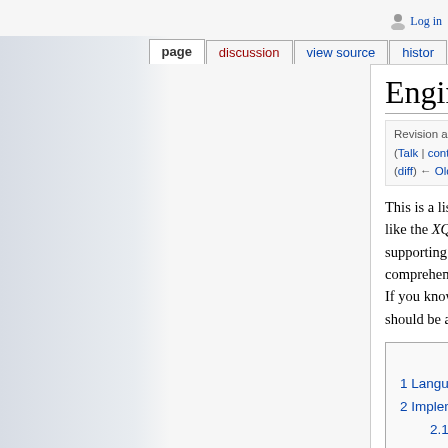Log in
page | discussion | view source | histor
Engines
Revision as of 17:50, 21 February 2010 by FGeorges (Talk | contribs) (diff) ← Older revision | Current revision (diff) | Newer revision → (diff)
This is a list of languages using XPath (or at least related specs, like the XQuery Scripting Extension), and a list of processors supporting XPath (or related languages). This list tries to be comprehensive, but it sure lacks some specs and implementations. If you know any such spec, language or implementation that should be added, please tell us on the mailing list.
| Contents [hide] |
| --- |
| 1 Languages using XPath |
| 2 Implementations |
| 2.1 BaseX |
| 2.2 EMC Documentum xDB |
| 2.3 EMC Documentum XProc Engine |